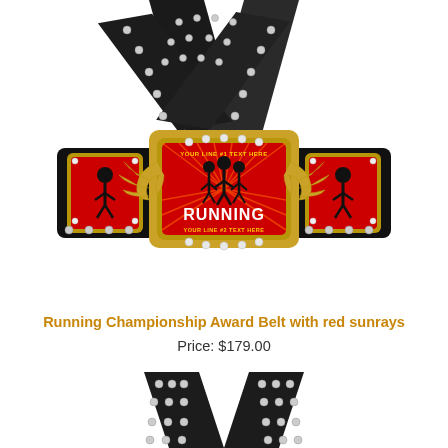[Figure (photo): Running Championship Award Belt with red sunrays design. Black leather belt with gold buckle plate featuring red sunray background, silhouettes of running figures, the word RUNNING, flame/torch ornaments on sides, and decorative red panels with runner silhouettes on left and right. Belt straps cross in an X pattern at top with silver studs.]
Running Championship Award Belt with red sunrays
Price: $179.00
[Figure (photo): Partial view of the same Running Championship Award Belt showing the crossed black leather straps with silver studs at the top.]